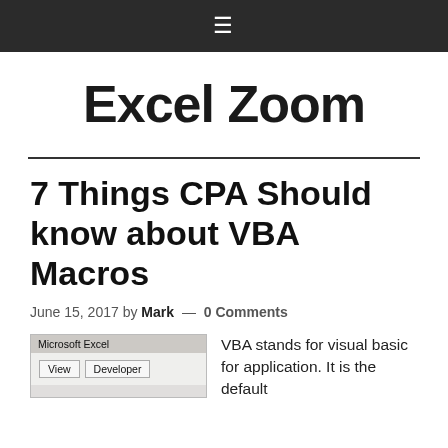≡
Excel Zoom
7 Things CPA Should know about VBA Macros
June 15, 2017 by Mark — 0 Comments
[Figure (screenshot): Screenshot of Microsoft Excel ribbon showing View and Developer tabs]
VBA stands for visual basic for application. It is the default